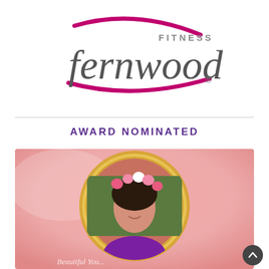[Figure (logo): Fernwood Fitness logo with magenta swoosh and grey text reading 'FITNESS fernwood' with registered trademark symbol]
AWARD NOMINATED
[Figure (photo): Woman with floral crown wearing a purple top, shown in a circular gold-bordered frame on a pink watercolor background. Partial text visible at bottom in cursive script.]